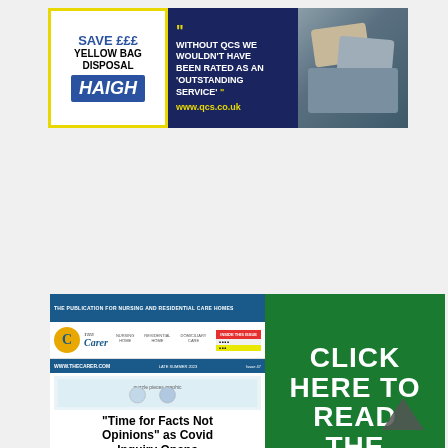[Figure (illustration): HAIGH yellow bag disposal advertisement with yellow border and blue logo]
[Figure (illustration): QCS advertisement on dark blue background: 'Without QCS we wouldn't have been rated as an Outstanding Service' www.qcs.co.uk]
[Figure (photo): Photo of cushions/pillows on a sofa]
[Figure (illustration): Green banner advertisement for The Carer magazine showing cover with headline 'Time for Facts Not Opinions as Covid Inquiry Opens' and call to action CLICK HERE TO READ THE LATEST ISSUE]
[Figure (illustration): Up/chevron arrow icon in dark grey pointing upward]